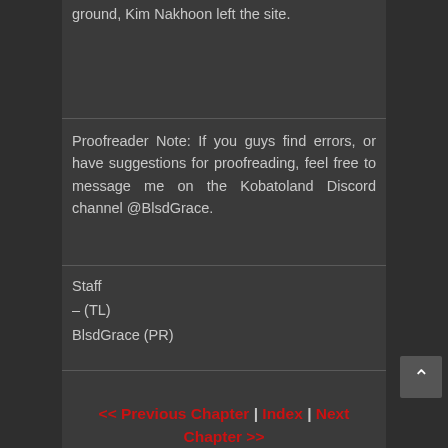ground, Kim Nakhoon left the site.
Proofreader Note: If you guys find errors, or have suggestions for proofreading, feel free to message me on the Kobatoland Discord channel @BlsdGrace.
Staff
– (TL)
BlsdGrace (PR)
<< Previous Chapter | Index | Next Chapter >>